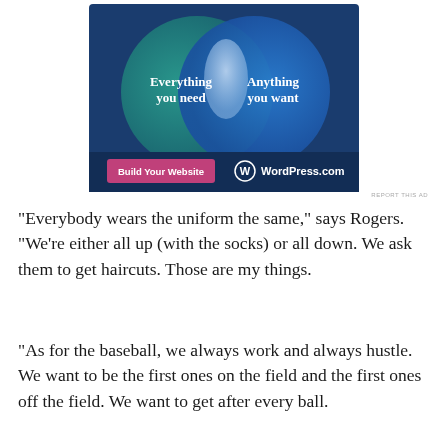[Figure (infographic): WordPress.com advertisement featuring a Venn diagram with two overlapping circles. Left circle (teal/green) labeled 'Everything you need', right circle (blue) labeled 'Anything you want', overlapping section is lighter blue. Bottom left has a pink button 'Build Your Website', bottom right shows WordPress.com logo and text.]
“Everybody wears the uniform the same,” says Rogers. “We’re either all up (with the socks) or all down. We ask them to get haircuts. Those are my things.
“As for the baseball, we always work and always hustle. We want to be the first ones on the field and the first ones off the field. We want to get after every ball.